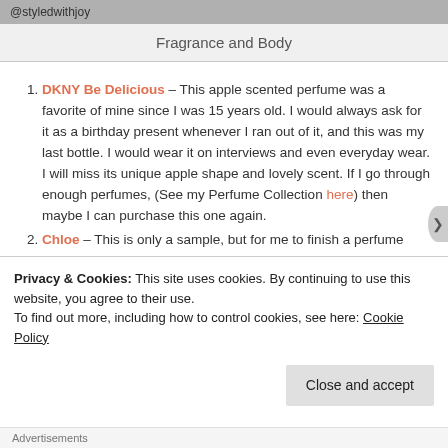@styledwithjoy
Fragrance and Body
DKNY Be Delicious – This apple scented perfume was a favorite of mine since I was 15 years old. I would always ask for it as a birthday present whenever I ran out of it, and this was my last bottle. I would wear it on interviews and even everyday wear. I will miss its unique apple shape and lovely scent. If I go through enough perfumes, (See my Perfume Collection here) then maybe I can purchase this one again.
Chloe – This is only a sample, but for me to finish a perfume sample out of the 40 or 50 samples I still have, says a lot. I
Privacy & Cookies: This site uses cookies. By continuing to use this website, you agree to their use.
To find out more, including how to control cookies, see here: Cookie Policy
Advertisements